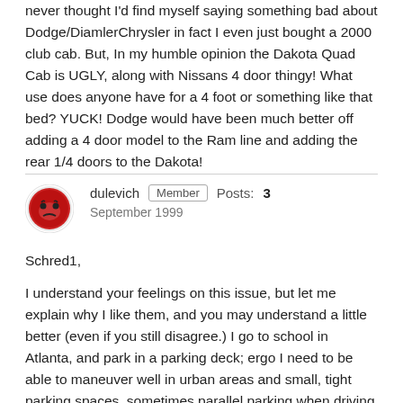never thought I'd find myself saying something bad about Dodge/DiamlerChrysler in fact I even just bought a 2000 club cab. But, In my humble opinion the Dakota Quad Cab is UGLY, along with Nissans 4 door thingy! What use does anyone have for a 4 foot or something like that bed? YUCK! Dodge would have been much better off adding a 4 door model to the Ram line and adding the rear 1/4 doors to the Dakota!
dulevich  Member  Posts: 3  September 1999
Schred1,
I understand your feelings on this issue, but let me explain why I like them, and you may understand a little better (even if you still disagree.) I go to school in Atlanta, and park in a parking deck; ergo I need to be able to maneuver well in urban areas and small, tight parking spaces, sometimes parallel parking when driving around campus. I want to have a truck for versatility, but I don't want to sacrifice interior space and people-hauling capacity (3:00am food runs just happen a lot...)